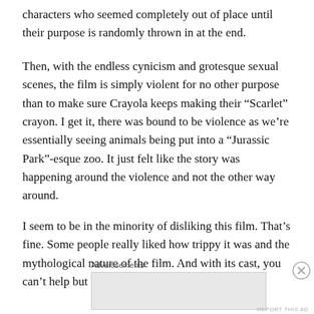characters who seemed completely out of place until their purpose is randomly thrown in at the end.
Then, with the endless cynicism and grotesque sexual scenes, the film is simply violent for no other purpose than to make sure Crayola keeps making their “Scarlet” crayon. I get it, there was bound to be violence as we’re essentially seeing animals being put into a “Jurassic Park”-esque zoo. It just felt like the story was happening around the violence and not the other way around.
I seem to be in the minority of disliking this film. That’s fine. Some people really liked how trippy it was and the mythological nature of the film. And with its cast, you can’t help but be drawn in. However, despite this
Advertisements